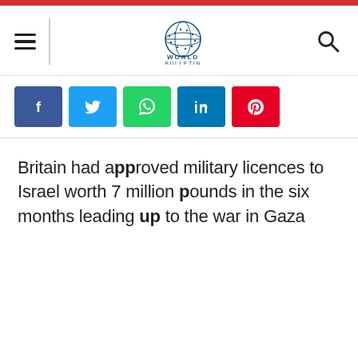World Bulletin — navigation header with hamburger menu, World Bulletin logo, and search icon
[Figure (infographic): Social media share buttons: Facebook (blue), Twitter (light blue), WhatsApp (green), LinkedIn (dark blue), Pinterest (red)]
Britain had approved military licences to Israel worth 7 million pounds in the six months leading up to the war in Gaza